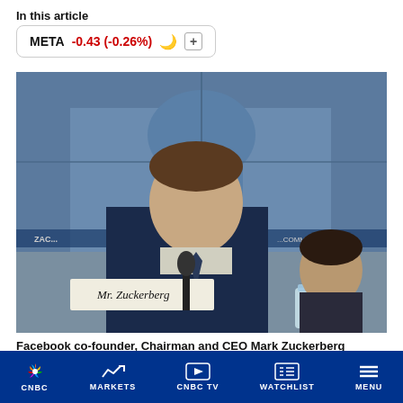In this article
META -0.43 (-0.26%)
[Figure (photo): Facebook co-founder, Chairman and CEO Mark Zuckerberg sits at a witness table with a nameplate reading 'Mr. Zuckerberg' during a congressional hearing before the House Energy and Commerce Committee. Behind him is a large blue-tinted screen showing the U.S. Capitol building. A microphone is in front of him. Another man is visible seated behind him to the right.]
Facebook co-founder, Chairman and CEO Mark Zuckerberg testifies before the House Energy and Commerce Committee in the Rayburn House Office Building on Capitol Hill April 11, 2018 in Washington, DC.
CNBC  MARKETS  CNBC TV  WATCHLIST  MENU